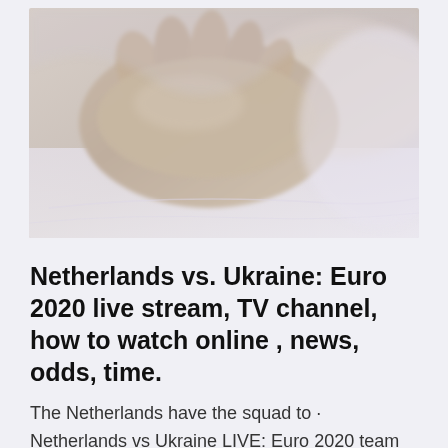[Figure (photo): Close-up photo of what appears to be a person's hands or feet resting on soft bedding or fabric, in muted beige and lavender tones]
Netherlands vs. Ukraine: Euro 2020 live stream, TV channel, how to watch online , news, odds, time.
The Netherlands have the squad to · Netherlands vs Ukraine LIVE: Euro 2020 team news, line-ups and latest build-up today. Follow all the latest updates from the Johan Cruijff Arena Arena in Amsterdam as Group C begins in Euro 2020 · Netherlands vs. Ukraine Live Stream: Watch Euro 2020 Online, TV Channel, Lineups to kick off its Euro 2020 campaign, the Netherlands will